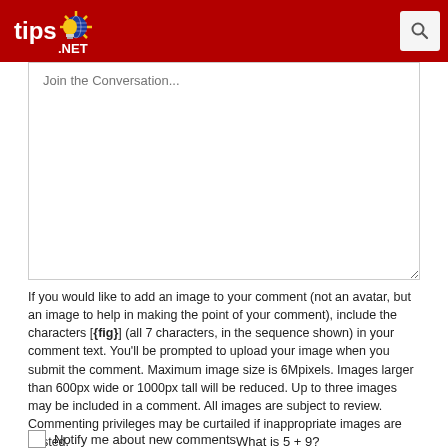[Figure (logo): tips.NET logo with lightbulb icon on dark red header bar, with search button in top right]
Join the Conversation...
If you would like to add an image to your comment (not an avatar, but an image to help in making the point of your comment), include the characters [{fig}] (all 7 characters, in the sequence shown) in your comment text. You'll be prompted to upload your image when you submit the comment. Maximum image size is 6Mpixels. Images larger than 600px wide or 1000px tall will be reduced. Up to three images may be included in a comment. All images are subject to review. Commenting privileges may be curtailed if inappropriate images are posted.
Name
Email
Notify me about new comments
What is 5 + 9?